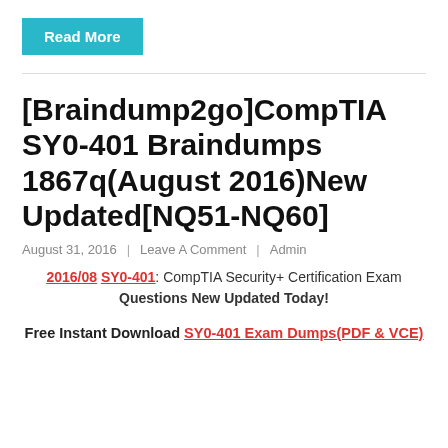Read More
[Braindump2go]CompTIA SY0-401 Braindumps 1867q(August 2016)New Updated[NQ51-NQ60]
August 31, 2016  |  Leave A Comment  |  Admin
2016/08 SY0-401: CompTIA Security+ Certification Exam Questions New Updated Today!
Free Instant Download SY0-401 Exam Dumps(PDF & VCE)